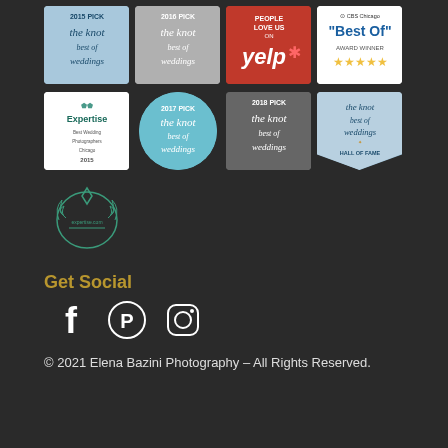[Figure (logo): Grid of award badges: The Knot Best of Weddings 2015 Pick, The Knot Best of Weddings 2016 Pick, Yelp People Love Us, CBS Chicago Best Of Award Winner, Expertise Best Wedding Photographers Chicago 2015, The Knot Best of Weddings 2017 Pick, The Knot Best of Weddings 2018 Pick, The Knot Best of Weddings Hall of Fame, Expertise badge (row 3)]
Get Social
[Figure (logo): Social media icons: Facebook, Pinterest, Instagram]
© 2021 Elena Bazini Photography – All Rights Reserved.